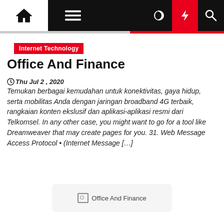Internet Technology — Office And Finance website navigation bar
Internet Technology
Office And Finance
Thu Jul 2, 2020
Temukan berbagai kemudahan untuk konektivitas, gaya hidup, serta mobilitas Anda dengan jaringan broadband 4G terbaik, rangkaian konten ekslusif dan aplikasi-aplikasi resmi dari Telkomsel. In any other case, you might want to go for a tool like Dreamweaver that may create pages for you. 31. Web Message Access Protocol • (Internet Message […]
[Figure (photo): Broken image placeholder for 'Office And Finance']